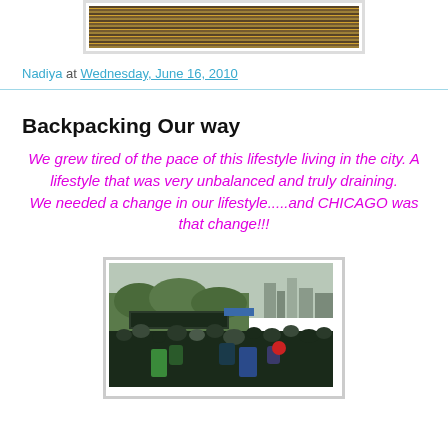[Figure (photo): Top image: a dark horizontal photograph with warm brown/orange tones, appearing to be a city or crowd scene at night, shown in a light gray frame]
Nadiya at Wednesday, June 16, 2010
Backpacking Our way
We grew tired of the pace of this lifestyle living in the city. A lifestyle that was very unbalanced and truly draining. We needed a change in our lifestyle.....and CHICAGO was that change!!!
[Figure (photo): Bottom image: outdoor crowd scene with people with backpacks, a stage banner visible in background, city skyline faintly visible, overcast sky]